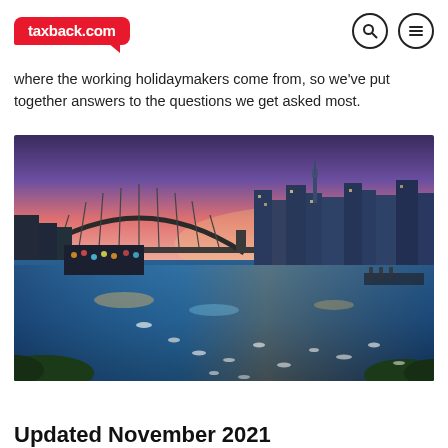taxback.com
where the working holidaymakers come from, so we've put together answers to the questions we get asked most.
[Figure (photo): Aerial panoramic photo of Sydney Harbour at dusk/twilight, showing the Sydney Harbour Bridge on the left, the city skyline with tall buildings in the background, and boats moored in the harbour in the foreground. The water reflects city lights in shades of blue and gold.]
Updated November 2021